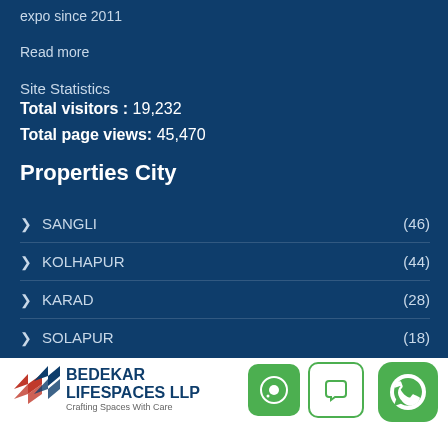expo since 2011
Read more
Site Statistics
Total visitors : 19,232
Total page views: 45,470
Properties City
SANGLI (46)
KOLHAPUR (44)
KARAD (28)
SOLAPUR (18)
BEDEKAR LIFESPACES LLP — Crafting Spaces With Care